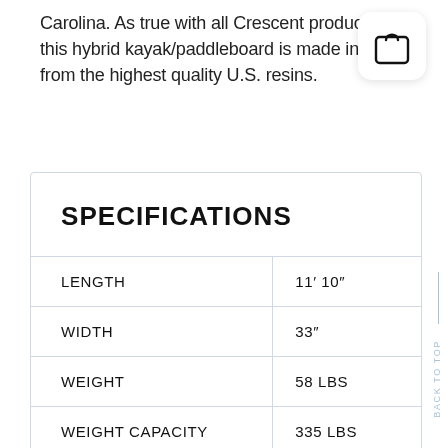Carolina.  As true with all Crescent products, this hybrid kayak/paddleboard is made in the U[SA] from the highest quality U.S. resins.
[Figure (illustration): Shopping bag icon inside a white rounded-rectangle card with drop shadow]
|  |  |
| --- | --- |
| SPECIFICATIONS |  |
| LENGTH | 11’ 10” |
| WIDTH | 33” |
| WEIGHT | 58 LBS |
| WEIGHT CAPACITY | 335 LBS |